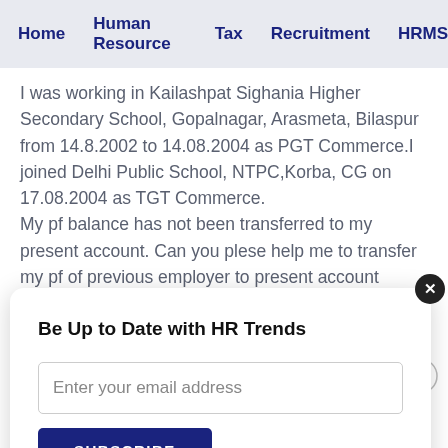Home  Human Resource  Tax  Recruitment  HRMS
I was working in Kailashpat Sighania Higher Secondary School, Gopalnagar, Arasmeta, Bilaspur from 14.8.2002 to 14.08.2004 as PGT Commerce.I joined Delhi Public School, NTPC,Korba, CG on 17.08.2004 as TGT Commerce.
My pf balance has not been transferred to my present account. Can you plese help me to transfer my pf of previous employer to present account
Be Up to Date with HR Trends
Enter your email address
SUBSCRIBE
Hi Mahendra,